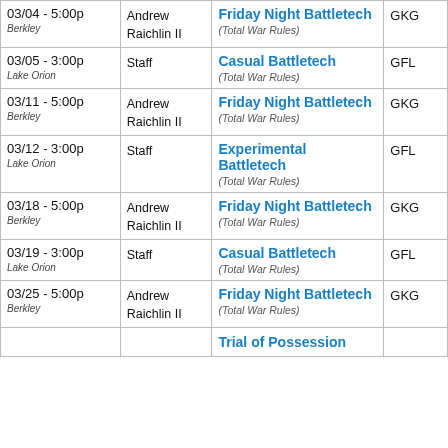| Date/Location | Host | Event | Store |
| --- | --- | --- | --- |
| 03/04 - 5:00p
Berkley | Andrew Raichlin II | Friday Night Battletech
(Total War Rules) | GKG |
| 03/05 - 3:00p
Lake Orion | Staff | Casual Battletech
(Total War Rules) | GFL |
| 03/11 - 5:00p
Berkley | Andrew Raichlin II | Friday Night Battletech
(Total War Rules) | GKG |
| 03/12 - 3:00p
Lake Orion | Staff | Experimental Battletech
(Total War Rules) | GFL |
| 03/18 - 5:00p
Berkley | Andrew Raichlin II | Friday Night Battletech
(Total War Rules) | GKG |
| 03/19 - 3:00p
Lake Orion | Staff | Casual Battletech
(Total War Rules) | GFL |
| 03/25 - 5:00p
Berkley | Andrew Raichlin II | Friday Night Battletech
(Total War Rules) | GKG |
| ... | ... | Trial of Possession... | ... |